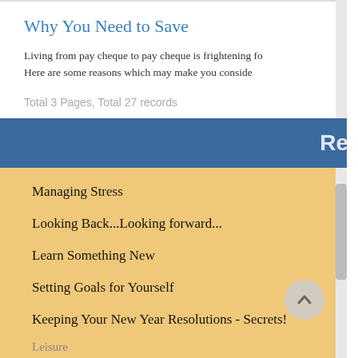Why You Need to Save
Living from pay cheque to pay cheque is frightening fo
Here are some reasons which may make you conside
Total 3 Pages, Total 27 records
Managing Stress
Looking Back...Looking forward...
Learn Something New
Setting Goals for Yourself
Keeping Your New Year Resolutions - Secrets!
Save time at home
Leisure